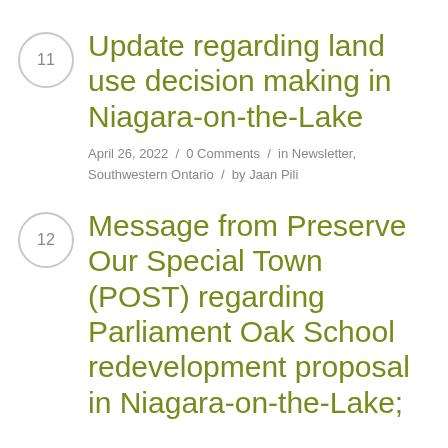11 — Update regarding land use decision making in Niagara-on-the-Lake
April 26, 2022 / 0 Comments / in Newsletter, Southwestern Ontario / by Jaan Pili
12 — Message from Preserve Our Special Town (POST) regarding Parliament Oak School redevelopment proposal in Niagara-on-the-Lake;